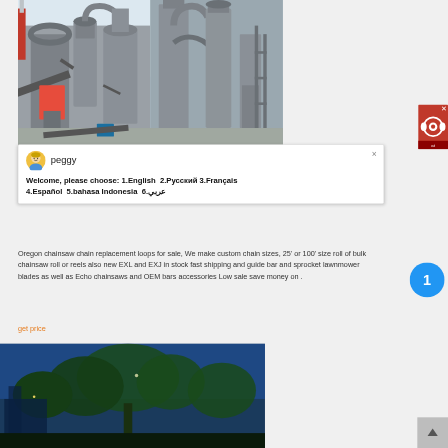[Figure (photo): Industrial grinding/milling facility with large grey metal machinery, pipes, cyclones and conveyors against a hazy sky. Two section panorama.]
[Figure (screenshot): Chat popup with avatar of a female support agent named 'peggy'. Message reads: Welcome, please choose: 1.English 2.Русский 3.Français 4.Español 5.bahasa Indonesia 6.عربي]
Oregon chainsaw chain replacement loops for sale, We make custom chain sizes, 25' or 100' size roll of bulk chainsaw roll or reels also new EXL and EXJ in stock fast shipping and guide bar and sprocket lawnmower blades as well as Echo chainsaws and OEM bars accessories Low sale save money on .
get price
[Figure (photo): Industrial facility at dusk/night with blue sky background, trees and machinery visible.]